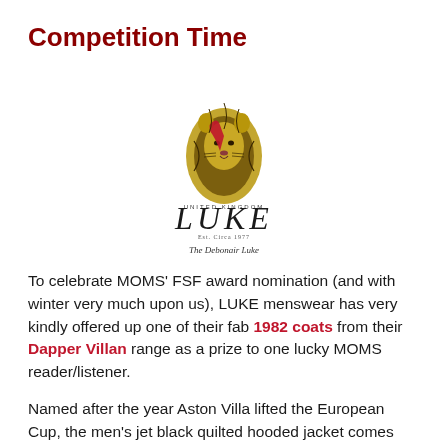Competition Time
[Figure (logo): LUKE menswear logo featuring a golden lion head illustration with a red tongue, text 'UNITED KINGDOM', large stylized 'LUKE' lettering, 'Est. Circa 1977', and italic tagline 'The Debonair Dude']
To celebrate MOMS' FSF award nomination (and with winter very much upon us), LUKE menswear has very kindly offered up one of their fab 1982 coats from their Dapper Villan range as a prize to one lucky MOMS reader/listener.
Named after the year Aston Villa lifted the European Cup, the men's jet black quilted hooded jacket comes with